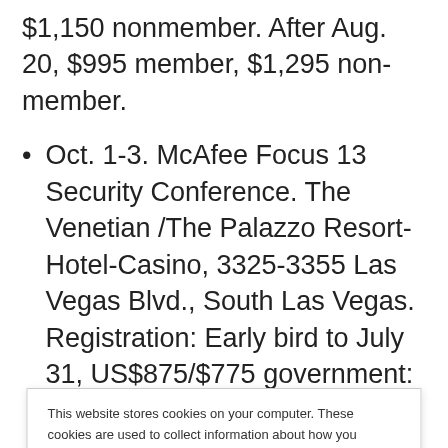$1,150 nonmember. After Aug. 20, $995 member, $1,295 non-member.
Oct. 1-3. McAfee Focus 13 Security Conference. The Venetian /The Palazzo Resort-Hotel-Casino, 3325-3355 Las Vegas Blvd., South Las Vegas. Registration: Early bird to July 31, US$875/$775 government:
This website stores cookies on your computer. These cookies are used to collect information about how you interact with our website and allow us to remember you. We use this information in order to improve and customize your browsing experience and for analytics and metrics about our visitors both on this website and other media. To find out more about the cookies we use, see our Privacy Policy. California residents have the right to direct us not to sell their personal information to third parties by filing an Opt-Out Request: Do Not Sell My Personal Info.